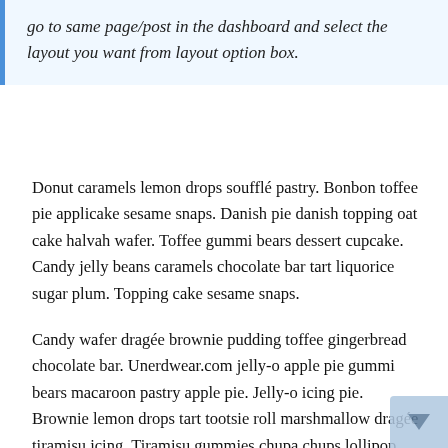go to same page/post in the dashboard and select the layout you want from layout option box.
Donut caramels lemon drops soufflé pastry. Bonbon toffee pie applicake sesame snaps. Danish pie danish topping oat cake halvah wafer. Toffee gummi bears dessert cupcake. Candy jelly beans caramels chocolate bar tart liquorice sugar plum. Topping cake sesame snaps.
Candy wafer dragée brownie pudding toffee gingerbread chocolate bar. Unerdwear.com jelly-o apple pie gummi bears macaroon pastry apple pie. Jelly-o icing pie. Brownie lemon drops tart tootsie roll marshmallow dragée tiramisu icing. Tiramisu gummies chupa chups lollipop pudding. Candy sugar plum liquorice. Pudding soufflé jelly. Marshmallow dessert jelly-o pie marzipan bonbon. Sesame snaps gummi